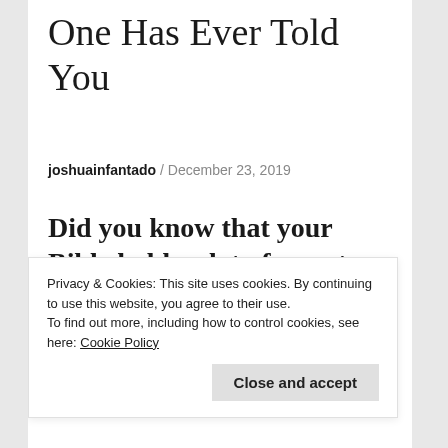One Has Ever Told You
joshuainfantado / December 23, 2019
Did you know that your Bible holds a lot of secrets – secrets, that if you know would change your
Privacy & Cookies: This site uses cookies. By continuing to use this website, you agree to their use.
To find out more, including how to control cookies, see here: Cookie Policy